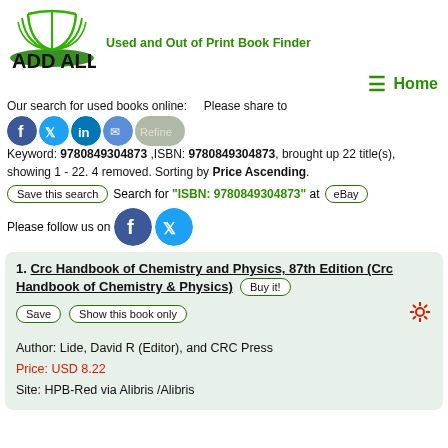[Figure (logo): ADD ALL logo with open book icon and green oval]
Used and Out of Print Book Finder
≡  Home
Our search for used books online:     Please share to [social icons] Keyword: 9780849304873 ,ISBN: 9780849304873, brought up 22 title(s), showing 1 - 22. 4 removed. Sorting by Price Ascending.
Save this search   Search for "ISBN: 9780849304873" at  eBay
Please follow us on [Facebook] [Twitter]
1. Crc Handbook of Chemistry and Physics, 87th Edition (Crc Handbook of Chemistry & Physics)  Buy it!
Save  Show this book only
Author: Lide, David R (Editor), and CRC Press
Price: USD 8.22
Site: HPB-Red via Alibris /Alibris